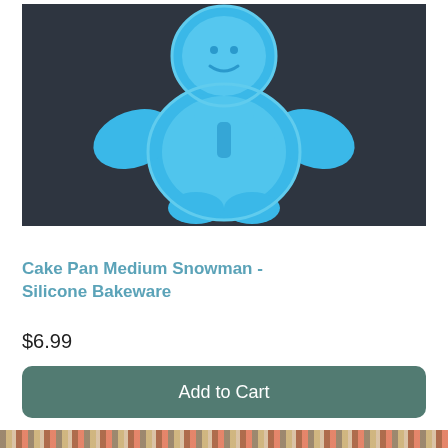[Figure (photo): Blue silicone snowman/gingerbread man shaped cake pan bakeware on a dark grey background]
Cake Pan Medium Snowman - Silicone Bakeware
$6.99
Add to Cart